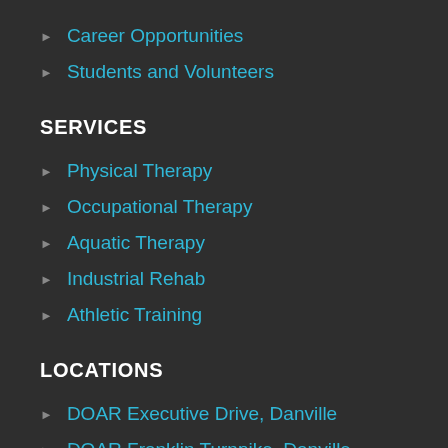Career Opportunities
Students and Volunteers
SERVICES
Physical Therapy
Occupational Therapy
Aquatic Therapy
Industrial Rehab
Athletic Training
LOCATIONS
DOAR Executive Drive, Danville
DOAR Franklin Turnpike, Danville
DOAR 58 East, Danville
DOAR Chatham